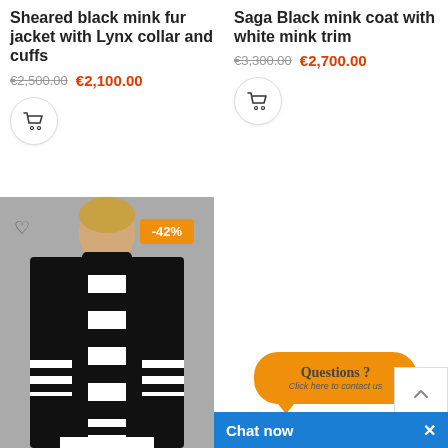Sheared black mink fur jacket with Lynx collar and cuffs
€2,500.00  €2,100.00
Saga Black mink coat with white mink trim
€3,300.00  €2,700.00
[Figure (photo): Woman wearing a black and white striped fur coat, with a -42% discount badge]
Questions ? Click here to contact us
Chat now